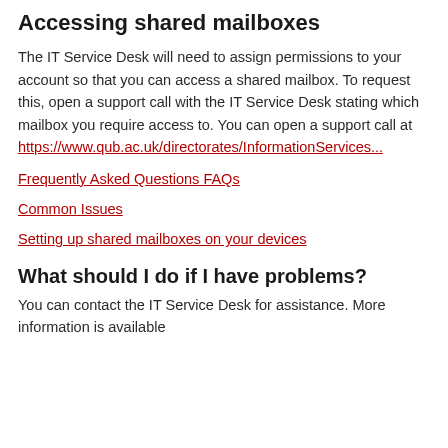Accessing shared mailboxes
The IT Service Desk will need to assign permissions to your account so that you can access a shared mailbox. To request this, open a support call with the IT Service Desk stating which mailbox you require access to. You can open a support call at https://www.qub.ac.uk/directorates/InformationServices...
Frequently Asked Questions FAQs
Common Issues
Setting up shared mailboxes on your devices
What should I do if I have problems?
You can contact the IT Service Desk for assistance. More information is available